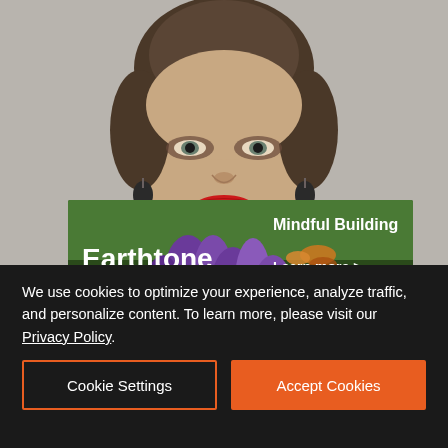[Figure (photo): Portrait photo of a young woman with brown hair pulled back, wearing dark drop earrings, red lipstick, and a black and gold patterned high-neck top, photographed against a gray wall background]
[Figure (infographic): Advertisement banner for Earthtone Construction showing purple flowers (lupines) with a butterfly on a green meadow background. Text reads 'Mindful Building', 'Earthtone CONSTRUCTION', 'Learn more >', 'UC.744848']
We use cookies to optimize your experience, analyze traffic, and personalize content. To learn more, please visit our Privacy Policy.
Cookie Settings
Accept Cookies